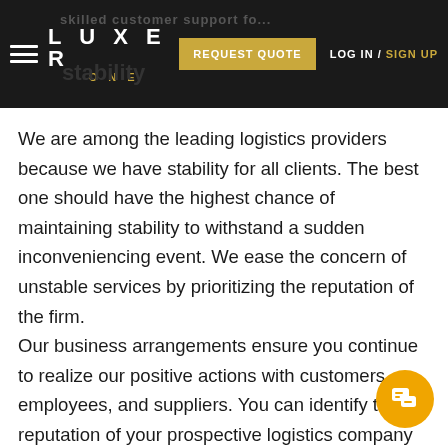LUXER ONE — skilled customer support | stability | REQUEST QUOTE | LOGIN / SIGN UP
We are among the leading logistics providers because we have stability for all clients. The best one should have the highest chance of maintaining stability to withstand a sudden inconveniencing event. We ease the concern of unstable services by prioritizing the reputation of the firm. Our business arrangements ensure you continue to realize our positive actions with customers, employees, and suppliers. You can identify the reputation of your prospective logistics company by establishing the following details: